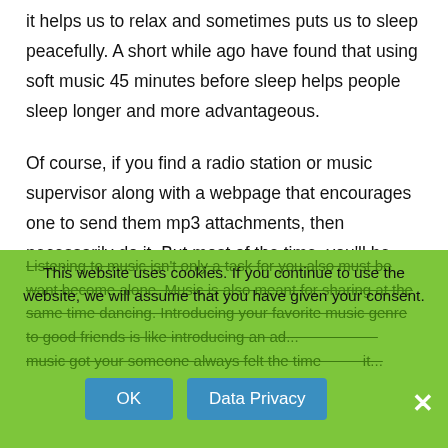it helps us to relax and sometimes puts us to sleep peacefully. A short while ago have found that using soft music 45 minutes before sleep helps people sleep longer and more advantageous.
Of course, if you find a radio station or music supervisor along with a webpage that encourages one to send them mp3 attachments, then necessarily do it. But most of the time, you'll be asked for links at your music online, as it's a much easier and quicker way for somebody to in order to your movies.
10) Unity. The most important thing is unity. As i play people tap their feet. music unites people both consciously and instinctively. When we listen to or play music, we are together.
Listening to music isn't only a task for you also must be want become alone. Music is also meant for sharing at the same time dancing. Introducing your favorite music genre to good friends is like introducing an ad... music got your someone always felt the time ... it...
This website uses cookies. If you continue to use the website, we will assume that you have given your consent.